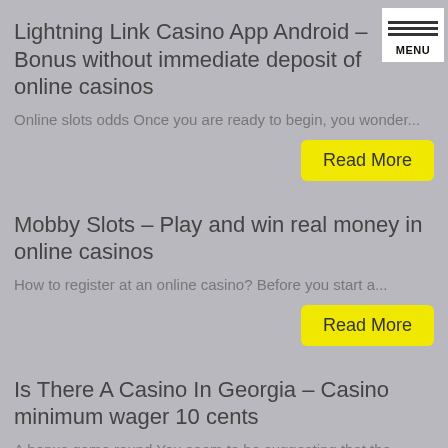Lightning Link Casino App Android – Bonus without immediate deposit of online casinos
Online slots odds Once you are ready to begin, you wonder...
Read More
Mobby Slots – Play and win real money in online casinos
How to register at an online casino? Before you start a...
Read More
Is There A Casino In Georgia – Casino minimum wager 10 cents
A bonus game round You seem to be suggesting that the...
Read More